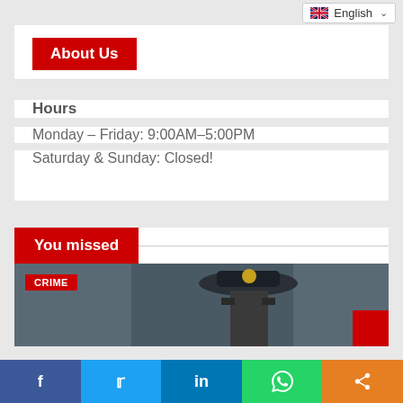English
About Us
Hours
Monday – Friday: 9:00AM–5:00PM
Saturday & Sunday: Closed!
You missed
[Figure (photo): Photo of a police officer wearing a uniform cap, with a CRIME category badge overlay in red]
Share buttons: Facebook, Twitter, LinkedIn, WhatsApp, More